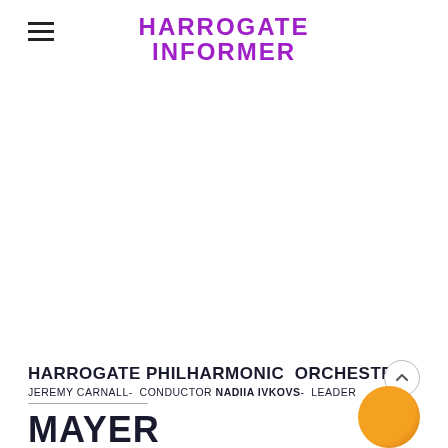HARROGATE INFORMER
HARROGATE PHILHARMONIC ORCHESTRA
JEREMY CARNALL- CONDUCTOR NADIIA IVKOVS- LEADER
MAYER
[Figure (illustration): Partial orange circle/sphere visible at bottom right corner]